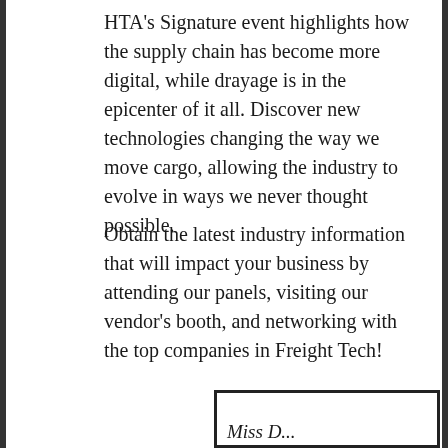HTA's Signature event highlights how the supply chain has become more digital, while drayage is in the epicenter of it all. Discover new technologies changing the way we move cargo, allowing the industry to evolve in ways we never thought possible.
Obtain the latest industry information that will impact your business by attending our panels, visiting our vendor's booth, and networking with the top companies in Freight Tech!
[Figure (other): Partially visible box/card with italic text beginning with 'Miss D...' at the bottom of the page]